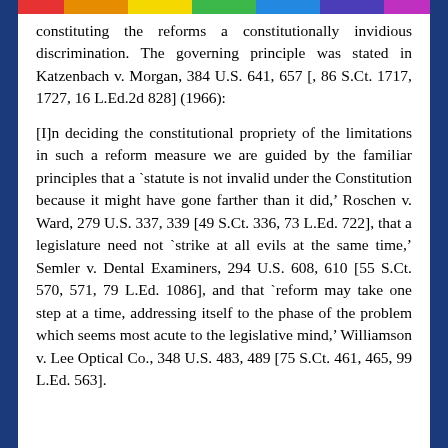constituting the reforms a constitutionally invidious discrimination. The governing principle was stated in Katzenbach v. Morgan, 384 U.S. 641, 657 [, 86 S.Ct. 1717, 1727, 16 L.Ed.2d 828] (1966):
[I]n deciding the constitutional propriety of the limitations in such a reform measure we are guided by the familiar principles that a `statute is not invalid under the Constitution because it might have gone farther than it did,' Roschen v. Ward, 279 U.S. 337, 339 [49 S.Ct. 336, 73 L.Ed. 722], that a legislature need not `strike at all evils at the same time,' Semler v. Dental Examiners, 294 U.S. 608, 610 [55 S.Ct. 570, 571, 79 L.Ed. 1086], and that `reform may take one step at a time, addressing itself to the phase of the problem which seems most acute to the legislative mind,' Williamson v. Lee Optical Co., 348 U.S. 483, 489 [75 S.Ct. 461, 465, 99 L.Ed. 563].